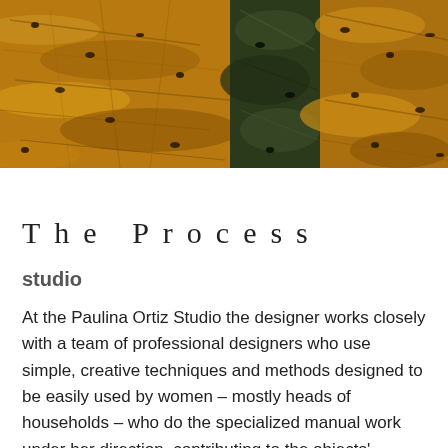[Figure (photo): Close-up photograph of textured dried seaweed or organic plant material in golden-brown and dark green tones arranged across the full width]
The Process
studio
At the Paulina Ortiz Studio the designer works closely with a team of professional designers who use simple, creative techniques and methods designed to be easily used by women – mostly heads of households – who do the specialized manual work under her direction, contributing to the objects' production and design decisions with their ideas and experience. The process is an intense one, with tremendous synergy and mutual collaboration